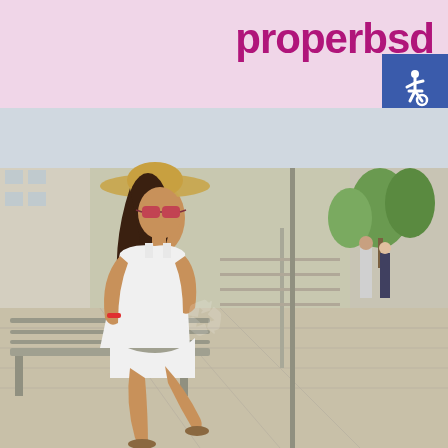properbsd
[Figure (photo): Woman wearing a straw hat and sunglasses, dressed in a white outfit, sitting on a metal bench at an urban bus stop on a sunny day. The background shows a city sidewalk with trees, buildings, and people walking.]